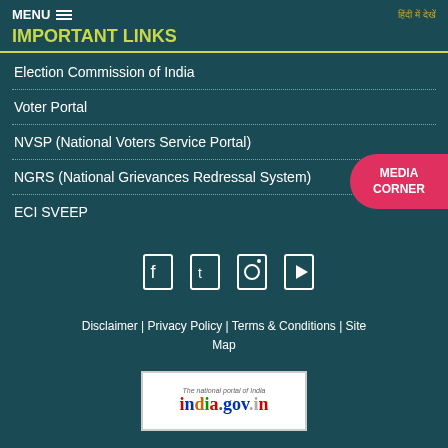MENU  |  हिंदी में देखें
IMPORTANT LINKS
Election Commission of India
Voter Portal
NVSP (National Voters Service Portal)
NGRS (National Grievances Redressal System)
ECI SVEEP
[Figure (infographic): Social media icons row (Facebook, Twitter, Instagram, YouTube style icons)]
Disclaimer | Privacy Policy | Terms & Conditions | Site Map
[Figure (logo): India.gov.in - The national portal of India logo]